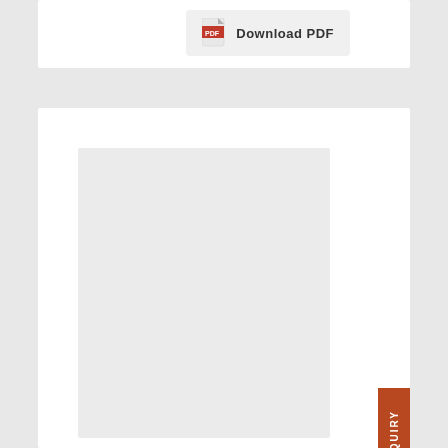[Figure (other): Download PDF button with red PDF icon]
[Figure (other): Large light grey placeholder/preview image area]
GDF 2002 – $1974.00 (Fuel Shipping)